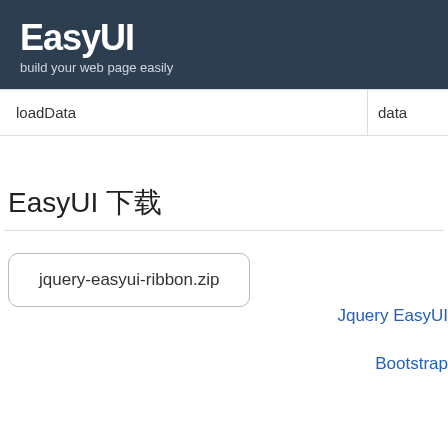EasyUI
build your web page easily
| loadData | data |
| --- | --- |
EasyUI 下载
jquery-easyui-ribbon.zip
Jquery EasyUI
Bootstrap